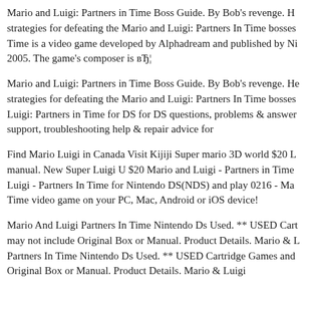Mario and Luigi: Partners in Time Boss Guide. By Bob's revenge. H... strategies for defeating the Mario and Luigi: Partners In Time bosses... Time is a video game developed by Alphadream and published by Ni... 2005. The game's composer is вЂ¦
Mario and Luigi: Partners in Time Boss Guide. By Bob's revenge. He... strategies for defeating the Mario and Luigi: Partners In Time bosses... Luigi: Partners in Time for DS for DS questions, problems & answer... support, troubleshooting help & repair advice for
Find Mario Luigi in Canada Visit Kijiji Super mario 3D world $20 L... manual. New Super Luigi U $20 Mario and Luigi - Partners in Time... Luigi - Partners In Time for Nintendo DS(NDS) and play 0216 - Ma... Time video game on your PC, Mac, Android or iOS device!
Mario And Luigi Partners In Time Nintendo Ds Used. ** USED Cart... may not include Original Box or Manual. Product Details. Mario & L... Partners In Time Nintendo Ds Used. ** USED Cartridge Games and... Original Box or Manual. Product Details. Mario & Luigi